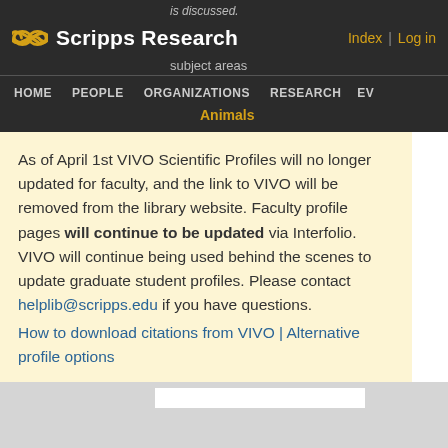is discussed.
[Figure (logo): Scripps Research logo with infinity symbol and text 'Scripps Research', plus navigation links 'Index' and 'Log in']
subject areas
HOME   PEOPLE   ORGANIZATIONS   RESEARCH   EV
Animals
As of April 1st VIVO Scientific Profiles will no longer updated for faculty, and the link to VIVO will be removed from the library website. Faculty profile pages will continue to be updated via Interfolio. VIVO will continue being used behind the scenes to update graduate student profiles. Please contact helplib@scripps.edu if you have questions.
How to download citations from VIVO | Alternative profile options